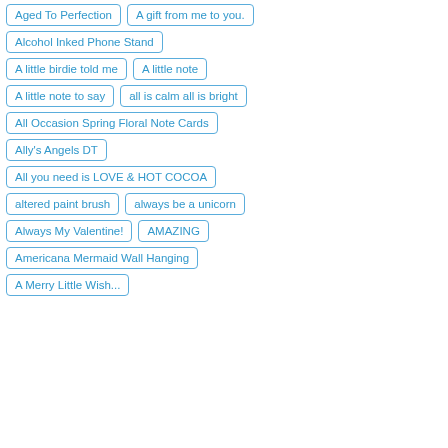Aged To Perfection
A gift from me to you.
Alcohol Inked Phone Stand
A little birdie told me
A little note
A little note to say
all is calm all is bright
All Occasion Spring Floral Note Cards
Ally's Angels DT
All you need is LOVE & HOT COCOA
altered paint brush
always be a unicorn
Always My Valentine!
AMAZING
Americana Mermaid Wall Hanging
A Merry Little Wish...